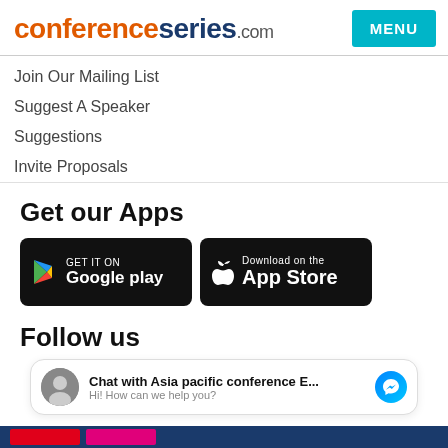conferenceseries.com
Join Our Mailing List
Suggest A Speaker
Suggestions
Invite Proposals
Get our Apps
[Figure (infographic): Google Play and Apple App Store download badges on black backgrounds]
Follow us
[Figure (infographic): Facebook Messenger chat widget: Chat with Asia pacific conference E... Hi! How can we help you?]